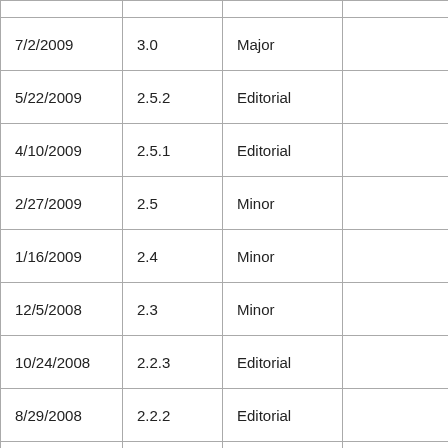| 7/2/2009 | 3.0 | Major |  |
| 5/22/2009 | 2.5.2 | Editorial |  |
| 4/10/2009 | 2.5.1 | Editorial |  |
| 2/27/2009 | 2.5 | Minor |  |
| 1/16/2009 | 2.4 | Minor |  |
| 12/5/2008 | 2.3 | Minor |  |
| 10/24/2008 | 2.2.3 | Editorial |  |
| 8/29/2008 | 2.2.2 | Editorial |  |
| 7/25/2008 | 2.2.1 | Editorial |  |
| 6/20/2008 | 2.2 | Minor |  |
| 3/14/2008 | 2.1.1 | Editorial |  |
| 1/25/2008 | 2.1 | Minor |  |